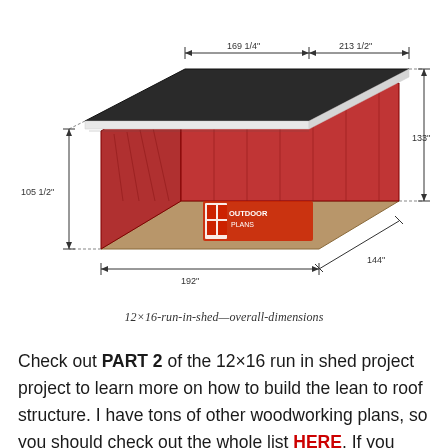[Figure (engineering-diagram): 3D perspective illustration of a 12x16 run-in shed with overall dimensions labeled. The shed has a dark gray flat/lean-to roof, red vertical-panel walls, and a tan/brown floor/foundation extending beyond the walls. Dimension arrows show: 169 1/4" and 213 1/2" across the roof top, 105 1/2" for the left wall height, 133" for the right wall height, 192" for the front floor depth, and 144" for the right floor width. An 'Outdoor Plans' logo watermark is visible on the front face.]
12×16-run-in-shed—overall-dimensions
Check out PART 2 of the 12×16 run in shed project project to learn more on how to build the lean to roof structure. I have tons of other woodworking plans, so you should check out the whole list HERE. If you want to get these plans as a PDF file with full Cut and Shopping lists, check